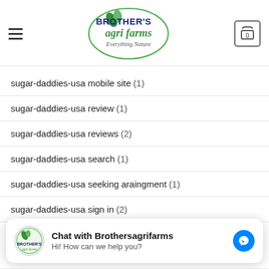Brother's Agri Farms - Everything Nature
sugar-daddies-usa mobile site (1)
sugar-daddies-usa review (1)
sugar-daddies-usa reviews (2)
sugar-daddies-usa search (1)
sugar-daddies-usa seeking araingment (1)
sugar-daddies-usa sign in (2)
sugar-daddies-usa site (2)
sugar-daddies-usa sugar baby websites (1)
sugar-daddies-usa website (1)